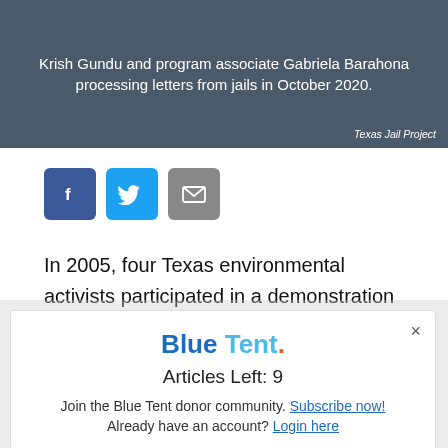Krish Gundu and program associate Gabriela Barahona processing letters from jails in October 2020.
Texas Jail Project
[Figure (other): Social share buttons: Facebook (blue), Twitter (light blue), Email (grey)]
In 2005, four Texas environmental activists participated in a demonstration against Union Carbide. One of the women eventually ended up spending almost five months in jail. The stories Diane Wilson heard there, and the hurdles that
Blue Tent.
Articles Left: 9
Join the Blue Tent donor community. Subscribe now!
Already have an account? Login here